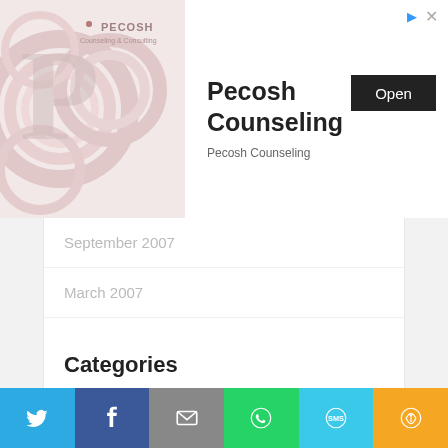[Figure (screenshot): Pecosh Counseling advertisement banner with logo, title 'Pecosh Counseling', subtitle 'Pecosh Counseling', and an Open button. Has arrow and X icons top right.]
September 2007
March 2007
Categories
Affirmations
Attitude
Books
[Figure (screenshot): Share bar with Twitter, Facebook, Email, WhatsApp, SMS, and More buttons]